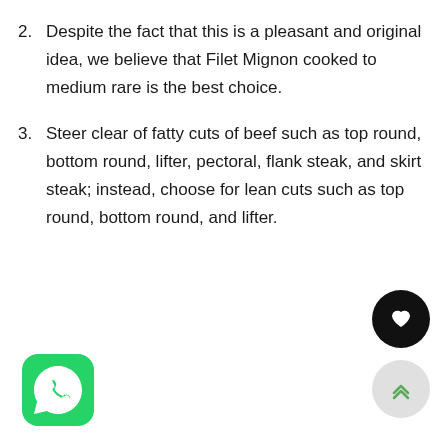2. Despite the fact that this is a pleasant and original idea, we believe that Filet Mignon cooked to medium rare is the best choice.
3. Steer clear of fatty cuts of beef such as top round, bottom round, lifter, pectoral, flank steak, and skirt steak; instead, choose for lean cuts such as top round, bottom round, and lifter.
[Figure (logo): WhatsApp green rounded square icon with white phone handset inside speech bubble]
[Figure (other): Black circular button with white heart icon]
[Figure (other): Light grey circular button with green double chevron up arrows]